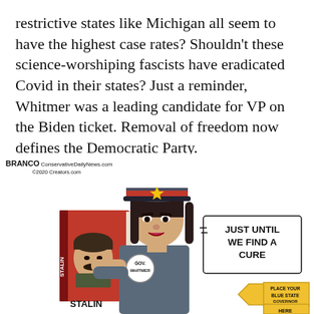restrictive states like Michigan all seem to have the highest case rates? Shouldn't these science-worshiping fascists have eradicated Covid in their states? Just a reminder, Whitmer was a leading candidate for VP on the Biden ticket. Removal of freedom now defines the Democratic Party.
[Figure (illustration): Political cartoon by Branco (ConservativeDailyNews.com, ©2020 Creators.com) depicting a caricature of Gov. Whitmer wearing a Soviet military uniform and holding a book with Stalin's image on the cover. Speech bubble reads 'JUST UNTIL WE FIND A CURE'. A yellow arrow sign points left with text 'PLACE YOUR BLUE STATE GOVERNOR OR MAYOR HERE'. A button on her lapel reads 'GOV. WHITMER'. The book's spine reads 'STALIN'.]